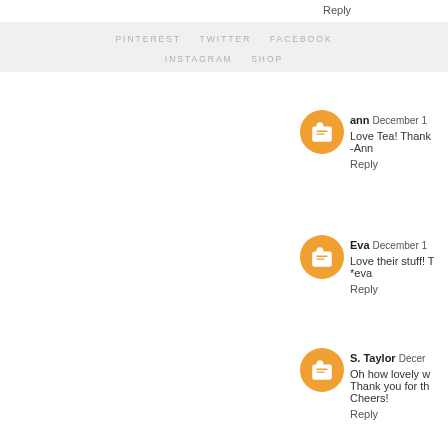Reply
PINTEREST   TWITTER   FACEBOOK   INSTAGRAM   SHOP
ann December … Love Tea! Thank … -Ann Reply
Eva December … Love their stuff! … *eva Reply
S. Taylor December … Oh how lovely w… Thank you for th… Cheers! Reply
Jen H. December… I would love to w… Reply
Brook Decemb…